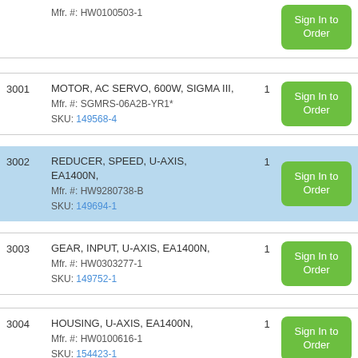| ID | Description | Qty | Action |
| --- | --- | --- | --- |
|  | Mfr. #: HW0100503-1 |  | Sign In to Order |
| 3001 | MOTOR, AC SERVO, 600W, SIGMA III,
Mfr. #: SGMRS-06A2B-YR1*
SKU: 149568-4 | 1 | Sign In to Order |
| 3002 | REDUCER, SPEED, U-AXIS, EA1400N,
Mfr. #: HW9280738-B
SKU: 149694-1 | 1 | Sign In to Order |
| 3003 | GEAR, INPUT, U-AXIS, EA1400N,
Mfr. #: HW0303277-1
SKU: 149752-1 | 1 | Sign In to Order |
| 3004 | HOUSING, U-AXIS, EA1400N,
Mfr. #: HW0100616-1
SKU: 154423-1 | 1 | Sign In to Order |